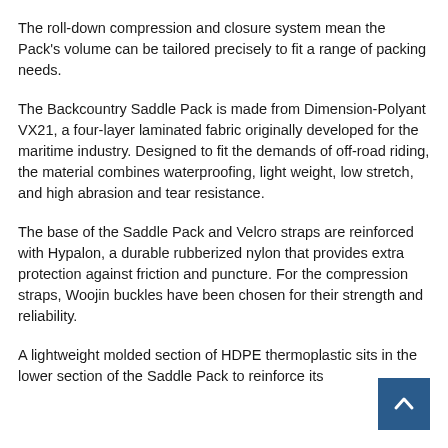The roll-down compression and closure system mean the Pack's volume can be tailored precisely to fit a range of packing needs.
The Backcountry Saddle Pack is made from Dimension-Polyant VX21, a four-layer laminated fabric originally developed for the maritime industry. Designed to fit the demands of off-road riding, the material combines waterproofing, light weight, low stretch, and high abrasion and tear resistance.
The base of the Saddle Pack and Velcro straps are reinforced with Hypalon, a durable rubberized nylon that provides extra protection against friction and puncture. For the compression straps, Woojin buckles have been chosen for their strength and reliability.
A lightweight molded section of HDPE thermoplastic sits in the lower section of the Saddle Pack to reinforce its